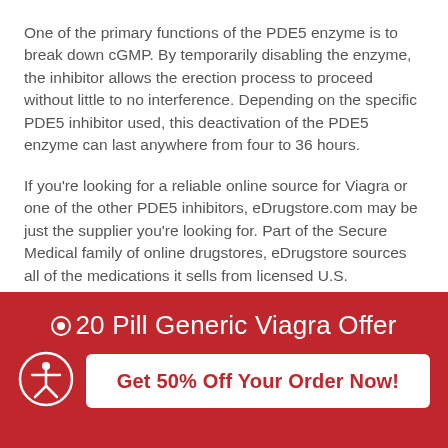One of the primary functions of the PDE5 enzyme is to break down cGMP. By temporarily disabling the enzyme, the inhibitor allows the erection process to proceed without little to no interference. Depending on the specific PDE5 inhibitor used, this deactivation of the PDE5 enzyme can last anywhere from four to 36 hours.
If you're looking for a reliable online source for Viagra or one of the other PDE5 inhibitors, eDrugstore.com may be just the supplier you're looking for. Part of the Secure Medical family of online drugstores, eDrugstore sources all of the medications it sells from licensed U.S. pharmacies.
●20 Pill Generic Viagra Offer
Get 50% Off Your Order Now!